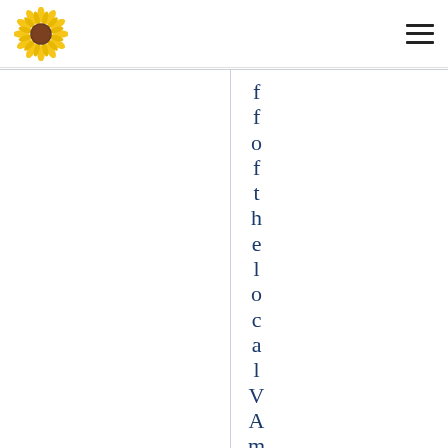[Figure (logo): Sunflower logo in yellow and brown in the top left corner of the navigation header]
[Figure (other): Hamburger menu icon (three horizontal lines) in the top right corner of the navigation header]
fofthelocalVAmed